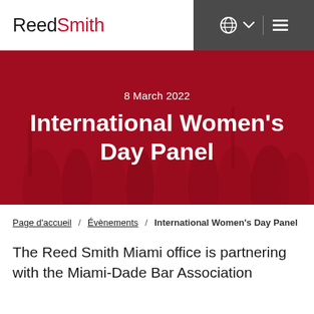[Figure (logo): ReedSmith logo with 'Reed' in black and 'Smith' in red]
[Figure (photo): Hero banner with red overlay showing crowd/people silhouettes in background, displaying date and event title]
8 March 2022
International Women's Day Panel
Page d'accueil / Évènements / International Women's Day Panel
The Reed Smith Miami office is partnering with the Miami-Dade Bar Association